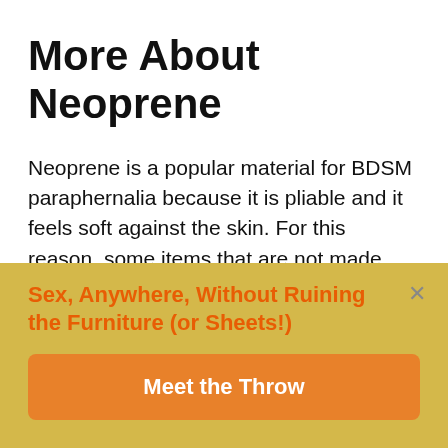More About Neoprene
Neoprene is a popular material for BDSM paraphernalia because it is pliable and it feels soft against the skin. For this reason, some items that are not made entirely from neoprene, such as ankle or wrist cuffs, may be lined with the material. Despite its tactile appeal, neoprene can be used to inflict pain when it is made into a whip.
Just like natural rubber, neoprene is moderately resistant
[Figure (infographic): Yellow/gold banner overlay with orange bold text 'Sex, Anywhere, Without Ruining the Furniture (or Sheets!)' and an orange CTA button labeled 'Meet the Throw', with a close X button in the top right corner.]